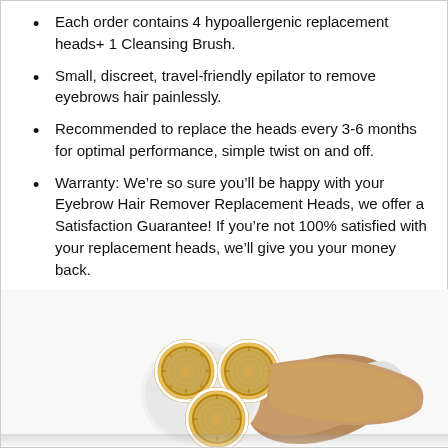Each order contains 4 hypoallergenic replacement heads+ 1 Cleansing Brush.
Small, discreet, travel-friendly epilator to remove eyebrows hair painlessly.
Recommended to replace the heads every 3-6 months for optimal performance, simple twist on and off.
Warranty: We’re so sure you’ll be happy with your Eyebrow Hair Remover Replacement Heads, we offer a Satisfaction Guarantee! If you’re not 100% satisfied with your replacement heads, we’ll give you your money back.
[Figure (photo): Photo of a white and gold eyebrow hair remover epilator device showing three circular replacement heads with gold detailing and a cleansing brush attachment.]